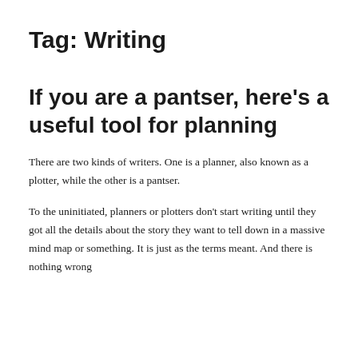Tag: Writing
If you are a pantser, here’s a useful tool for planning
There are two kinds of writers. One is a planner, also known as a plotter, while the other is a pantser.
To the uninitiated, planners or plotters don’t start writing until they got all the details about the story they want to tell down in a massive mind map or something. It is just as the terms meant. And there is nothing wrong